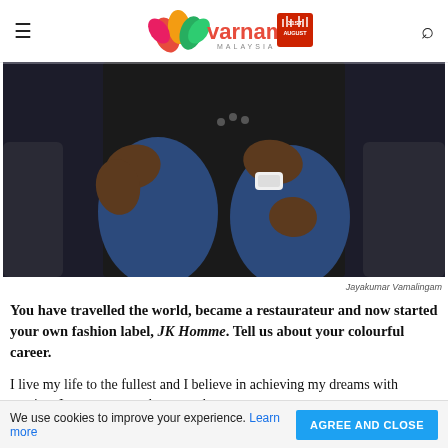Varnam Malaysia
[Figure (photo): Close-up photo of a person wearing a black blazer and blue jeans, seated, with a white watch visible on the wrist. Hands are crossed over lap.]
Jayakumar Vamalingam
You have travelled the world, became a restaurateur and now started your own fashion label, JK Homme. Tell us about your colourful career.
I live my life to the fullest and I believe in achieving my dreams with passion. In my younger days, my dream
We use cookies to improve your experience. Learn more AGREE AND CLOSE